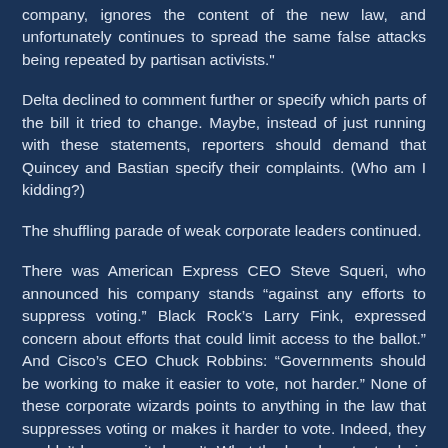company, ignores the content of the new law, and unfortunately continues to spread the same false attacks being repeated by partisan activists."
Delta declined to comment further or specify which parts of the bill it tried to change. Maybe, instead of just running with these statements, reporters should demand that Quincey and Bastian specify their complaints. (Who am I kidding?)
The shuffling parade of weak corporate leaders continued.
There was American Express CEO Steve Squeri, who announced his company stands “against any efforts to suppress voting.” Black Rock’s Larry Fink, expressed concern about efforts that could limit access to the ballot.” And Cisco’s CEO Chuck Robbins: “Governments should be working to make it easier to vote, not harder.” None of these corporate wizards points to anything in the law that suppresses voting or makes it harder to vote. Indeed, they couldn’t because it doesn’t. What the law does try to do is strengthen accountability to make certain only eligible voters can vote and that their votes are securely kept and